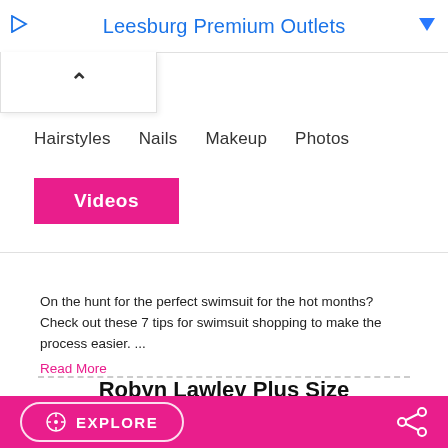Leesburg Premium Outlets
shopping tips
On the hunt for the perfect swimsuit for the hot months? Check out these 7 tips for swimsuit shopping to make the process easier. ...
Read More
Robyn Lawley Plus Size Swimwear Line
[Figure (photo): Two photos side by side showing women in swimwear outdoors]
EXPLORE